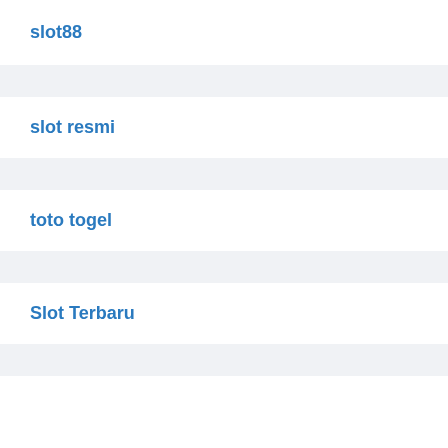slot88
slot resmi
toto togel
Slot Terbaru